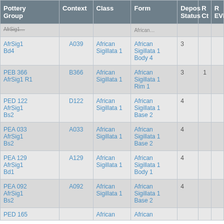| Pottery Group | Context | Class | Form | Depos Status | R Ct | R EVR |
| --- | --- | --- | --- | --- | --- | --- |
| AfrSig1 Bd4 | A039 | African Sigillata 1 | African Sigillata 1 Body 4 | 3 |  |  |
| PEB 366 AfrSig1 R1 | B366 | African Sigillata 1 | African Sigillata 1 Rim 1 | 3 | 1 |  |
| PED 122 AfrSig1 Bs2 | D122 | African Sigillata 1 | African Sigillata 1 Base 2 | 4 |  |  |
| PEA 033 AfrSig1 Bs2 | A033 | African Sigillata 1 | African Sigillata 1 Base 2 | 4 |  |  |
| PEA 129 AfrSig1 Bd1 | A129 | African Sigillata 1 | African Sigillata 1 Body 1 | 4 |  |  |
| PEA 092 AfrSig1 Bs2 | A092 | African Sigillata 1 | African Sigillata 1 Base 2 | 4 |  |  |
| PED 165 ... |  | African ... | African ... |  |  |  |